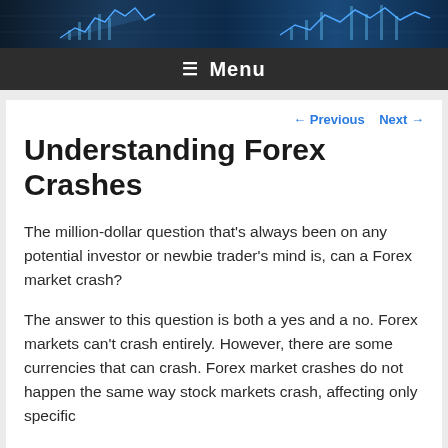[Figure (illustration): Financial chart background banner with blue stock market graph lines on dark blue background]
≡ Menu
Understanding Forex Crashes
← Previous   Next →
The million-dollar question that's always been on any potential investor or newbie trader's mind is, can a Forex market crash?
The answer to this question is both a yes and a no. Forex markets can't crash entirely. However, there are some currencies that can crash. Forex market crashes do not happen the same way stock markets crash, affecting only specific